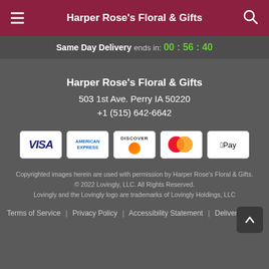Harper Rose's Floral & Gifts
Same Day Delivery ends in: 00 : 56 : 40
Harper Rose's Floral & Gifts
503 1st Ave. Perry IA 50220
+1 (515) 642-6642
[Figure (other): Payment method icons: VISA, American Express, Discover, Mastercard, Apple Pay]
Copyrighted images herein are used with permission by Harper Rose's Floral & Gifts.
© 2022 Lovingly, LLC. All Rights Reserved.
Lovingly and the Lovingly logo are trademarks of Lovingly Holdings, LLC
Terms of Service | Privacy Policy | Accessibility Statement | Delivery Policy